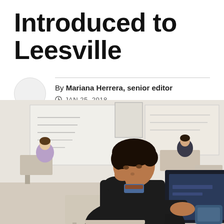introduced to Leesville
By Mariana Herrera, senior editor
JAN 25, 2018
[Figure (photo): A student wearing a black hoodie sits at a school desk working on a laptop in a classroom. Other students and a teacher are visible in the background. A whiteboard with writing is visible at the back of the room.]